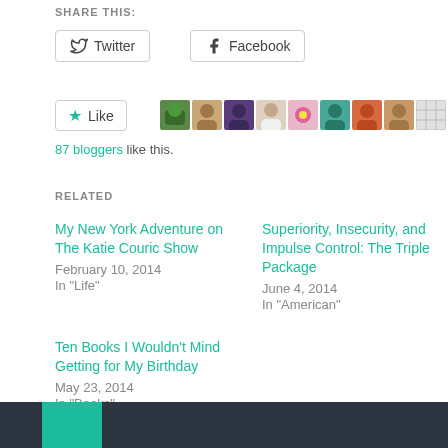SHARE THIS:
Twitter | Facebook
Like
87 bloggers like this.
RELATED
My New York Adventure on The Katie Couric Show
February 10, 2014
In "Life"
Superiority, Insecurity, and Impulse Control: The Triple Package
June 4, 2014
In "American"
Ten Books I Wouldn't Mind Getting for My Birthday
May 23, 2014
In "Books"